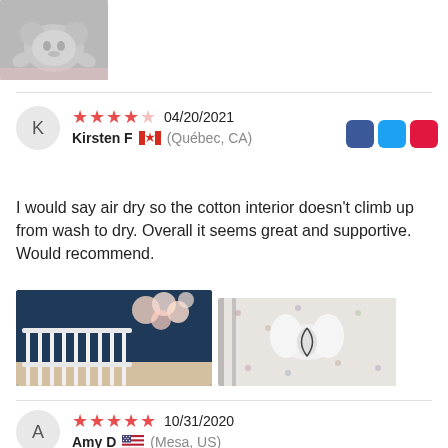[Figure (photo): Photo of a gray plush stuffed animal pillow on a colorful surface]
K
Kirsten F 🇨🇦 (Québec, CA)
04/20/2021
★★★★☆
I would say air dry so the cotton interior doesn't climb up from wash to dry. Overall it seems great and supportive. Would recommend.
[Figure (photo): Photo of a baby nursery with white crib, dark blue wall, and floral decorations]
[Figure (photo): Photo of a white baby pillow/positioner on a patterned crib sheet]
A
Amy D 🇺🇸 (Mesa, US)
10/31/2020
★★★★★